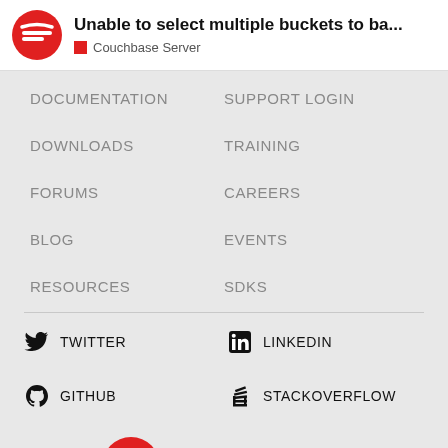Unable to select multiple buckets to ba...
Couchbase Server
DOCUMENTATION
SUPPORT LOGIN
DOWNLOADS
TRAINING
FORUMS
CAREERS
BLOG
EVENTS
RESOURCES
SDKS
TWITTER
LINKEDIN
GITHUB
STACKOVERFLOW
[Figure (logo): Couchbase logo with red icon and bold text 'Couchbase']